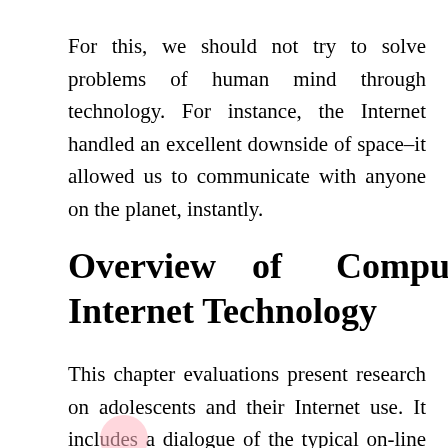For this, we should not try to solve problems of human mind through technology. For instance, the Internet handled an excellent downside of space–it allowed us to communicate with anyone on the planet, instantly.
Overview of Computer Internet Technology
This chapter evaluations present research on adolescents and their Internet use. It includes a dialogue of the typical on-line behaviors of